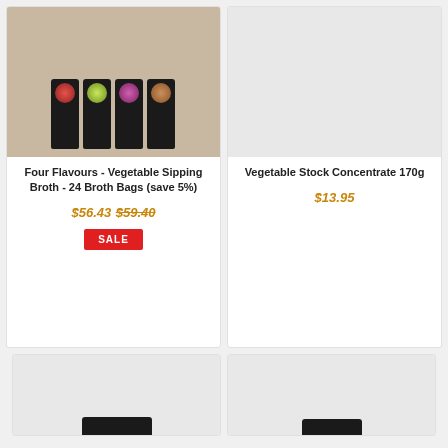[Figure (photo): Photo of four broth sipping bag packages on a wooden board with a warm beige background]
Four Flavours - Vegetable Sipping Broth - 24 Broth Bags (save 5%)
$56.43 $59.40
SALE
[Figure (photo): Light grey placeholder image for Vegetable Stock Concentrate 170g]
Vegetable Stock Concentrate 170g
$13.95
[Figure (photo): Partial view of a product with black lid on grey background, bottom left]
[Figure (photo): Partial view of a product with black lid on grey background, bottom right]